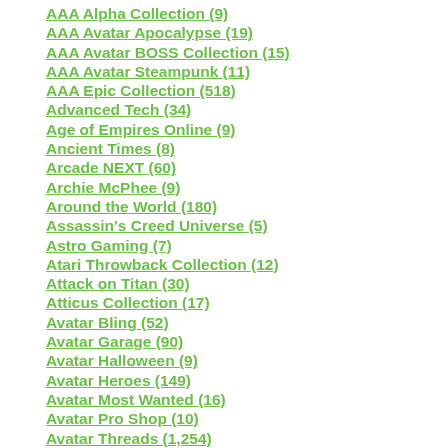AAA Alpha Collection (9)
AAA Avatar Apocalypse (19)
AAA Avatar BOSS Collection (15)
AAA Avatar Steampunk (11)
AAA Epic Collection (518)
Advanced Tech (34)
Age of Empires Online (9)
Ancient Times (8)
Arcade NEXT (60)
Archie McPhee (9)
Around the World (180)
Assassin's Creed Universe (5)
Astro Gaming (7)
Atari Throwback Collection (12)
Attack on Titan (30)
Atticus Collection (17)
Avatar Bling (52)
Avatar Garage (90)
Avatar Halloween (9)
Avatar Heroes (149)
Avatar Most Wanted (16)
Avatar Pro Shop (10)
Avatar Threads (1,254)
Avatar Toy Armory (638)
Avatar Ultrafresh (200)
Avengers (10)
Barber Shop (22)
Batman The Dark Knight Rises (26)